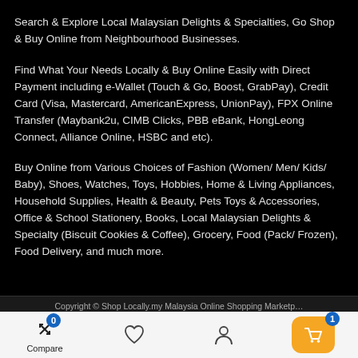Search & Explore Local Malaysian Delights & Specialties, Go Shop & Buy Online from Neighbourhood Businesses.
Find What Your Needs Locally & Buy Online Easily with Direct Payment including e-Wallet (Touch & Go, Boost, GrabPay), Credit Card (Visa, Mastercard, AmericanExpress, UnionPay), FPX Online Transfer (Maybank2u, CIMB Clicks, PBB eBank, HongLeong Connect, Alliance Online, HSBC and etc).
Buy Online from Various Choices of Fashion (Women/ Men/ Kids/ Baby), Shoes, Watches, Toys, Hobbies, Home & Living Appliances, Household Supplies, Health & Beauty, Pets Toys & Accessories, Office & School Stationery, Books, Local Malaysian Delights & Specialty (Biscuit Cookies & Coffee), Grocery, Food (Pack/ Frozen), Food Delivery, and much more.
Copyright © Shop Locally.my Malaysia Online Shopping Marketp…